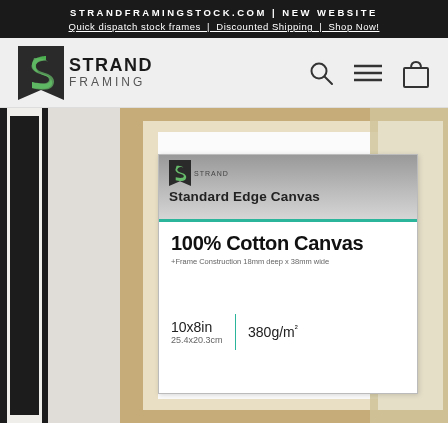STRANDFRAMINGSTOCK.COM | NEW WEBSITE
Quick dispatch stock frames | Discounted Shipping | Shop Now!
[Figure (screenshot): Strand Framing website header with logo (green S icon with 'STRAND FRAMING' text), search icon, hamburger menu icon, and shopping bag icon on a light grey background]
[Figure (photo): Product photo showing a canvas with label: 'Standard Edge Canvas, 100% Cotton Canvas, Frame Construction 18mm deep x 38mm wide, 10x8in / 25.4x20.3cm, 380g/m²'. A black picture frame is visible on the left edge and a wood/beige frame surrounds the canvas. A partial beige frame is visible on the right edge.]